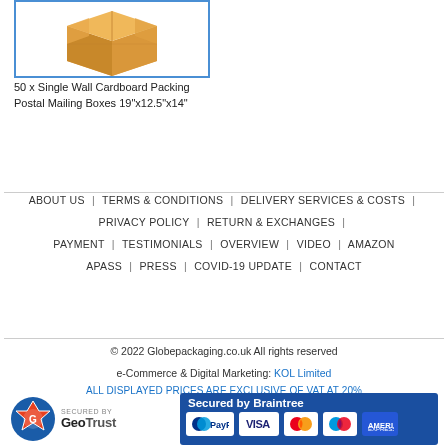[Figure (photo): Cardboard packing box illustration inside a blue-bordered frame]
50 x Single Wall Cardboard Packing Postal Mailing Boxes 19"x12.5"x14"
ABOUT US | TERMS & CONDITIONS | DELIVERY SERVICES & COSTS | PRIVACY POLICY | RETURN & EXCHANGES | PAYMENT | TESTIMONIALS | OVERVIEW | VIDEO | AMAZON APASS | PRESS | COVID-19 UPDATE | CONTACT
© 2022 Globepackaging.co.uk All rights reserved
e-Commerce & Digital Marketing: KOL Limited
ALL DISPLAYED PRICES ARE EXCLUSIVE OF VAT AT 20%
[Figure (logo): GeoTrust Secured By badge with orange/red circular logo]
[Figure (logo): Secured by Braintree badge with PayPal, Visa, MasterCard, Maestro, American Express logos on blue background]